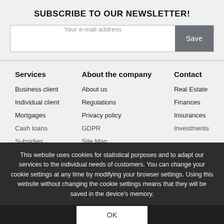SUBSCRIBE TO OUR NEWSLETTER!
Your e-mail address
Save
Services
About the company
Contact
Business client
About us
Real Estate
Individual client
Regulations
Finances
Mortgages
Privacy policy
Insurances
Cash loans
GDPR
Investments
Subsidies
Site Map
This website uses cookies for statistical purposes and to adapt our services to the individual needs of customers. You can change your cookie settings at any time by modifying your browser settings. Using this website without changing the cookie settings means that they will be saved in the device's memory.
OK